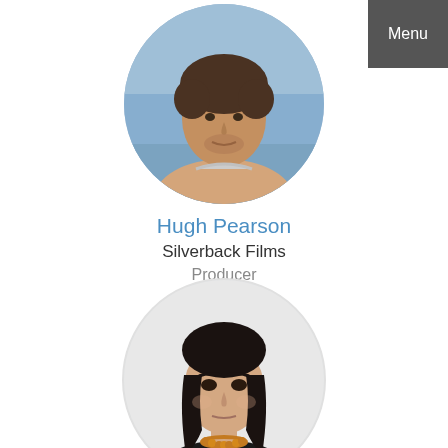[Figure (photo): Circular profile photo of Hugh Pearson, a middle-aged man at a beach]
Hugh Pearson
Silverback Films
Producer
[Figure (photo): Circular profile photo of a woman with dark hair wearing a black top and amber necklace]
Menu